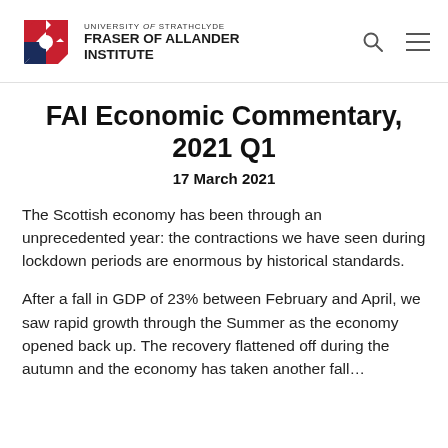University of Strathclyde Fraser of Allander Institute
FAI Economic Commentary, 2021 Q1
17 March 2021
The Scottish economy has been through an unprecedented year: the contractions we have seen during lockdown periods are enormous by historical standards.
After a fall in GDP of 23% between February and April, we saw rapid growth through the Summer as the economy opened back up. The recovery flattened off during the autumn and the economy has taken another fall…